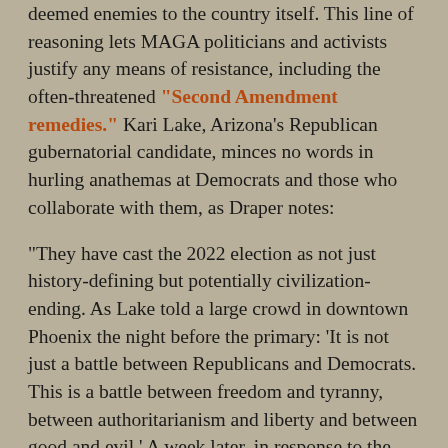deemed enemies to the country itself. This line of reasoning lets MAGA politicians and activists justify any means of resistance, including the often-threatened "Second Amendment remedies." Kari Lake, Arizona's Republican gubernatorial candidate, minces no words in hurling anathemas at Democrats and those who collaborate with them, as Draper notes:

"They have cast the 2022 election as not just history-defining but potentially civilization-ending. As Lake told a large crowd in downtown Phoenix the night before the primary: 'It is not just a battle between Republicans and Democrats. This is a battle between freedom and tyranny, between authoritarianism and liberty and between good and evil.' A week later, in response to the F.B.I.'s executing a search warrant at Trump's residence at Mar-a-Lago in Florida, Lake posted a statement on Twitter: 'These tyrants will stop at nothing to silence the Patriots who are working hard to save America.' She